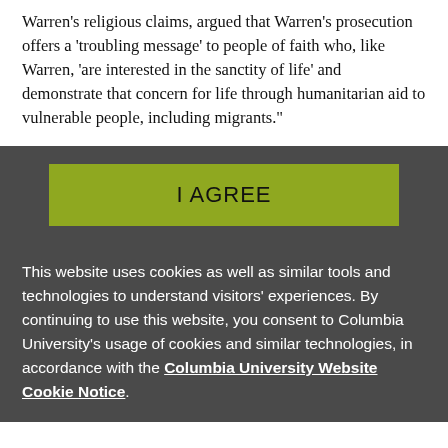Warren's religious claims, argued that Warren's prosecution offers a 'troubling message' to people of faith who, like Warren, 'are interested in the sanctity of life' and demonstrate that concern for life through humanitarian aid to vulnerable people, including migrants."
[Figure (other): Olive/yellow-green 'I AGREE' button on dark grey background]
This website uses cookies as well as similar tools and technologies to understand visitors' experiences. By continuing to use this website, you consent to Columbia University's usage of cookies and similar technologies, in accordance with the Columbia University Website Cookie Notice.